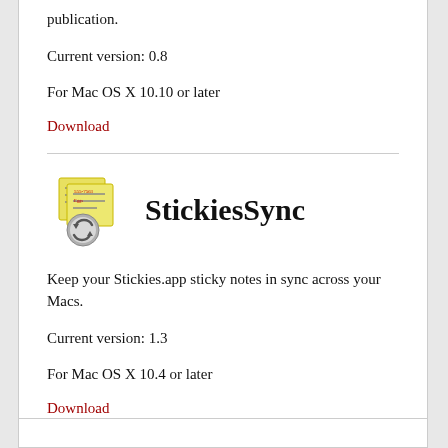publication.
Current version: 0.8
For Mac OS X 10.10 or later
Download
[Figure (illustration): StickiesSync app icon showing yellow sticky notes with a sync/refresh circular arrow overlay]
StickiesSync
Keep your Stickies.app sticky notes in sync across your Macs.
Current version: 1.3
For Mac OS X 10.4 or later
Download